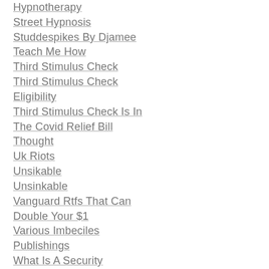Hypnotherapy
Street Hypnosis
Studdespikes By Djamee
Teach Me How
Third Stimulus Check
Third Stimulus Check Eligibility
Third Stimulus Check Is In The Covid Relief Bill
Thought
Uk Riots
Unsikable
Unsinkable
Vanguard Rtfs That Can Double Your $1
Various Imbeciles Publishings
What Is A Security
What Is Doge?